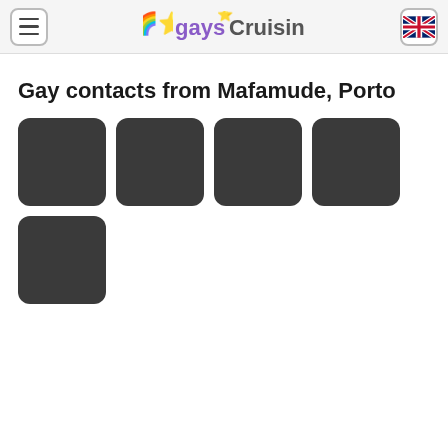gaysCruising
Gay contacts from Mafamude, Porto
[Figure (other): Grid of 5 dark placeholder profile image cards arranged in two rows: 4 in the first row, 1 in the second row]